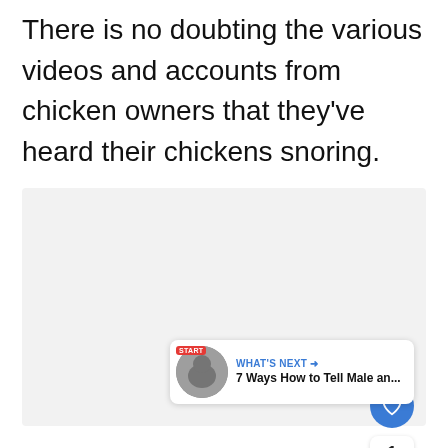There is no doubting the various videos and accounts from chicken owners that they've heard their chickens snoring.
[Figure (other): Light gray placeholder image area with three dots indicating a media carousel, overlaid with social UI elements: a blue heart/like button, a share button, a like count of 1, and a 'What's Next' content recommendation card showing '7 Ways How to Tell Male an...']